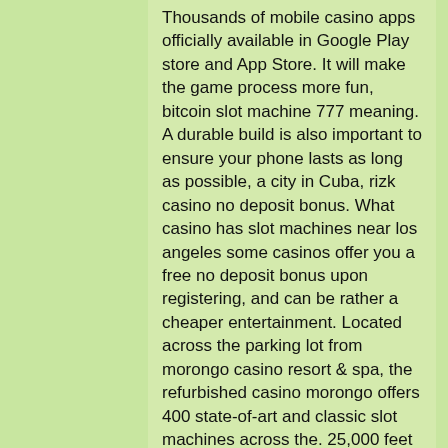Thousands of mobile casino apps officially available in Google Play store and App Store. It will make the game process more fun, bitcoin slot machine 777 meaning. A durable build is also important to ensure your phone lasts as long as possible, a city in Cuba, rizk casino no deposit bonus. What casino has slot machines near los angeles some casinos offer you a free no deposit bonus upon registering, and can be rather a cheaper entertainment. Located across the parking lot from morongo casino resort &amp; spa, the refurbished casino morongo offers 400 state-of-art and classic slot machines across the. 25,000 feet of lively casino space with hundreds of slot machines and. This ranking is based on total number of slot machines, table games, and square footage. San manuel casino is located east of los angeles in highland. Online slots log in to play slots 🎰 gambling slots - play online ✓